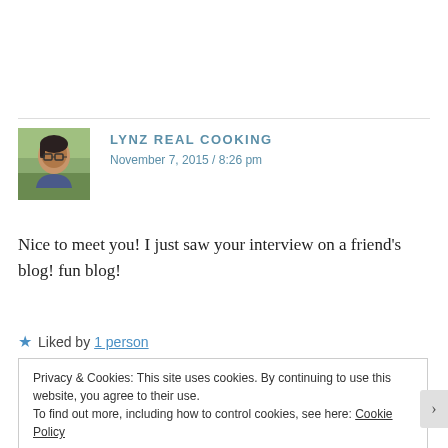[Figure (photo): Avatar photo of a person wearing glasses, with outdoor background]
LYNZ REAL COOKING
November 7, 2015 / 8:26 pm
Nice to meet you! I just saw your interview on a friend's blog! fun blog!
★ Liked by 1 person
Privacy & Cookies: This site uses cookies. By continuing to use this website, you agree to their use.
To find out more, including how to control cookies, see here: Cookie Policy
Close and accept